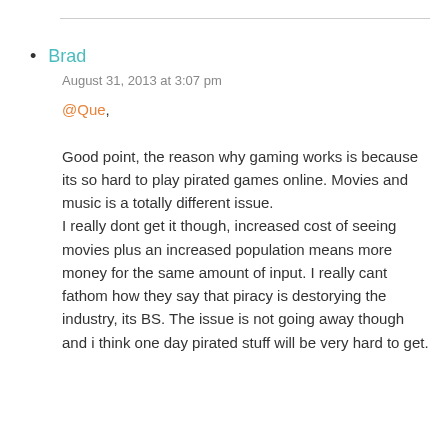Brad
August 31, 2013 at 3:07 pm
@Que,

Good point, the reason why gaming works is because its so hard to play pirated games online. Movies and music is a totally different issue.
I really dont get it though, increased cost of seeing movies plus an increased population means more money for the same amount of input. I really cant fathom how they say that piracy is destorying the industry, its BS. The issue is not going away though and i think one day pirated stuff will be very hard to get.